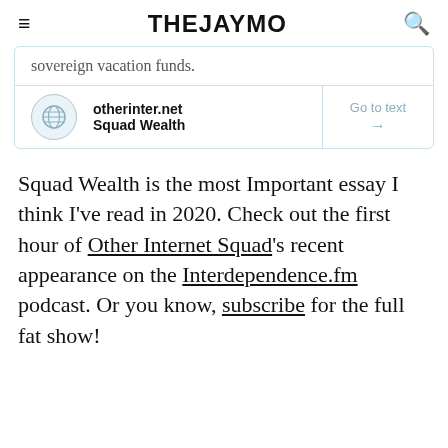THEJAYMO
sovereign vacation funds.
| otherinter.net Squad Wealth | Go to text → |
Squad Wealth is the most Important essay I think I've read in 2020. Check out the first hour of Other Internet Squad's recent appearance on the Interdependence.fm podcast. Or you know, subscribe for the full fat show!